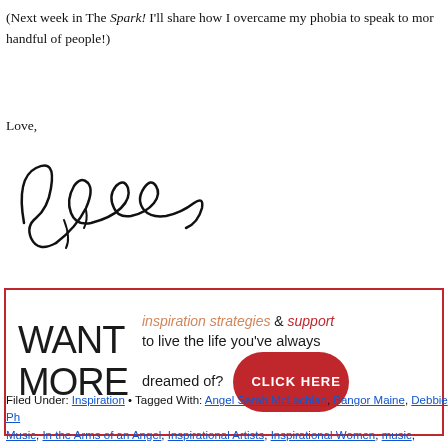(Next week in The Spark! I'll share how I overcame my phobia to speak to more than a handful of people!)
Love,
[Figure (illustration): Handwritten signature reading 'Debbie']
[Figure (infographic): Advertisement box with red border reading: WANT MORE inspiration strategies & support to live the life you've always dreamed of? CLICK HERE]
Filed Under: Inspiration • Tagged With: Angel Sarah McLachlan, Bangor Maine, Debbie Ph..., Music, In the Arms of an Angel, Inspirational Artists, Inspirational Women, music, Original V... Fire, Sarah Mclachlan, Woman On Fire, Women On Fire